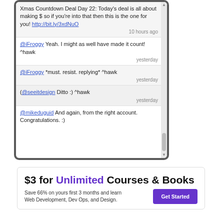[Figure (screenshot): Mobile phone screenshot showing a list of tweets/social media messages in a scrollable feed]
Xmas Countdown Deal Day 22: Today's deal is all about making $ so if you're into that then this is the one for you! http://bit.ly/3xdNuO
10 hours ago
@iFroggy Yeah. I might as well have made it count! ^hawk
yesterday
@iFroggy *must. resist. replying* ^hawk
yesterday
(@seeitdesign Ditto :) ^hawk
yesterday
@mikeduguid And again, from the right account. Congratulations. :)
[Figure (infographic): Advertisement banner: $3 for Unlimited Courses & Books. Save 66% on yours first 3 months and learn Web Development, Dev Ops, and Design. Get Started button.]
$3 for Unlimited Courses & Books
Save 66% on yours first 3 months and learn Web Development, Dev Ops, and Design.
Get Started